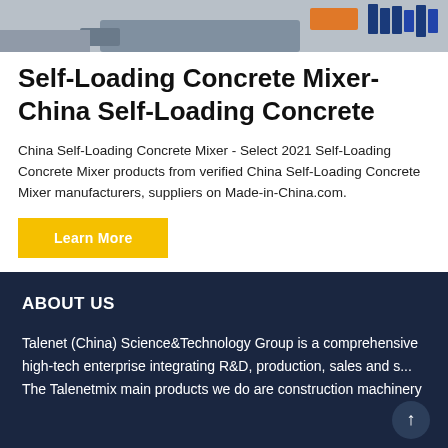[Figure (photo): Partial view of a self-loading concrete mixer machine with blue components and orange accents against a grey background]
Self-Loading Concrete Mixer-China Self-Loading Concrete
China Self-Loading Concrete Mixer - Select 2021 Self-Loading Concrete Mixer products from verified China Self-Loading Concrete Mixer manufacturers, suppliers on Made-in-China.com.
Learn More
ABOUT US
Talenet (China) Science&Technology Group is a comprehensive high-tech enterprise integrating R&D, production, sales and s... The Talenetmix main products we do are construction machinery